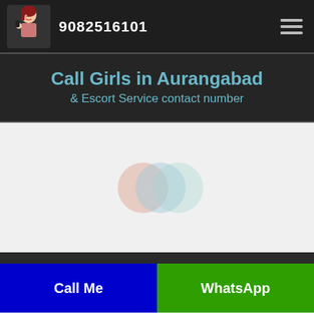9082516101
Call Girls in Aurangabad & Escort Service contact number
[Figure (illustration): Three overlapping semi-transparent circles in peach/salmon, light blue, and light teal colors — a loading indicator graphic centered in a white/light gray content area.]
Call Me
WhatsApp